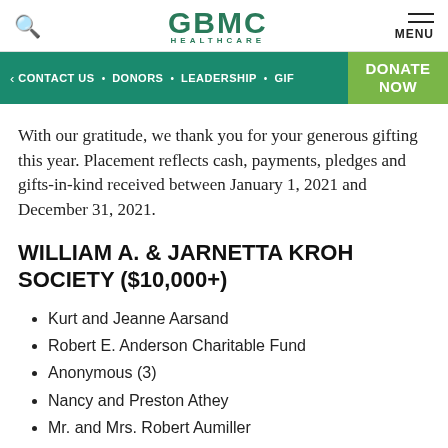GBMC HEALTHCARE
With our gratitude, we thank you for your generous gifting this year. Placement reflects cash, payments, pledges and gifts-in-kind received between January 1, 2021 and December 31, 2021.
WILLIAM A. & JARNETTA KROH SOCIETY ($10,000+)
Kurt and Jeanne Aarsand
Robert E. Anderson Charitable Fund
Anonymous (3)
Nancy and Preston Athey
Mr. and Mrs. Robert Aumiller
Charles T. Bauer Charitable Foundation
Charles D. and Mary A. Bauer Foundation